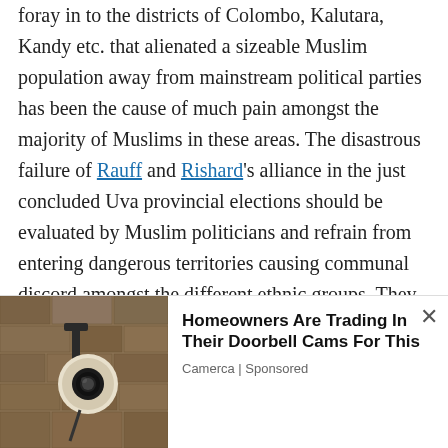foray in to the districts of Colombo, Kalutara, Kandy etc. that alienated a sizeable Muslim population away from mainstream political parties has been the cause of much pain amongst the majority of Muslims in these areas. The disastrous failure of Rauff and Rishard's alliance in the just concluded Uva provincial elections should be evaluated by Muslim politicians and refrain from entering dangerous territories causing communal discord amongst the different ethnic groups. They should stick to their communal politics if needed, to the areas they dominate. The fragmentation of Muslim votes by these
[Figure (photo): Advertisement showing a security camera mounted on a wall (doorbell cam alternative). Text: Homeowners Are Trading In Their Doorbell Cams For This. Source: Camerca | Sponsored]